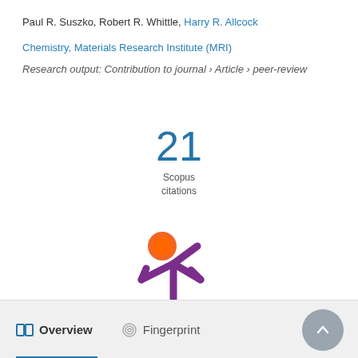Paul R. Suszko, Robert R. Whittle, Harry R. Allcock
Chemistry, Materials Research Institute (MRI)
Research output: Contribution to journal › Article › peer-review
[Figure (infographic): Scopus citation count badge showing 21 Scopus citations]
[Figure (logo): Altmetric donut/asterisk logo in orange and purple]
Overview   Fingerprint